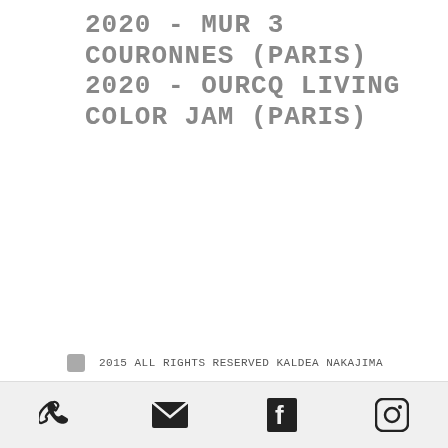2020 - MUR 3 COURONNES (PARIS)
2020 - OURCQ LIVING COLOR JAM (PARIS)
2015 ALL RIGHTS RESERVED KALDEA NAKAJIMA
[Figure (infographic): Instagram icon, Twitter bird icon, and a circle with upward chevron (back to top button)]
[Figure (infographic): Bottom navigation bar with phone, email/envelope, Facebook, and Instagram icons]